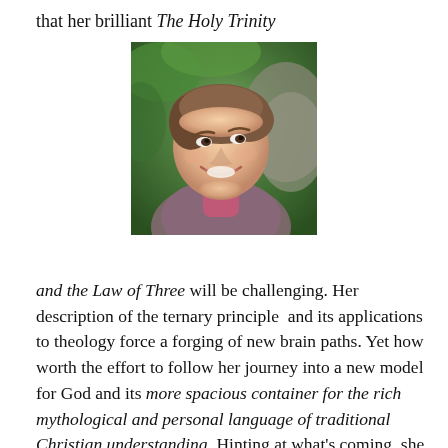that her brilliant The Holy Trinity
[Figure (photo): Portrait photo of a smiling middle-aged woman with short brown hair, wearing a pink/magenta turtleneck, photographed outdoors against a green leafy and rocky background, looking upward and to the side.]
and the Law of Three will be challenging. Her description of the ternary principle  and its applications to theology force a forging of new brain paths. Yet how worth the effort to follow her journey into a new model for God and its more spacious container for the rich mythological and personal language of traditional Christian understanding. Hinting at what's coming, she says: . . . most of the paradigm distress besetting contemporary